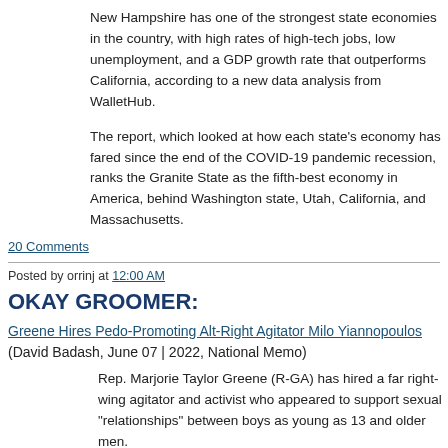New Hampshire has one of the strongest state economies in the country, with high rates of high-tech jobs, low unemployment, and a GDP growth rate that outperforms California, according to a new data analysis from WalletHub.
The report, which looked at how each state's economy has fared since the end of the COVID-19 pandemic recession, ranks the Granite State as the fifth-best economy in America, behind Washington state, Utah, California, and Massachusetts.
20 Comments
Posted by orrinj at 12:00 AM
OKAY GROOMER:
Greene Hires Pedo-Promoting Alt-Right Agitator Milo Yiannopoulos
(David Badash, June 07 | 2022, National Memo)
Rep. Marjorie Taylor Greene (R-GA) has hired a far right-wing agitator and activist who appeared to support sexual "relationships" between boys as young as 13 and older men.
In 2016 Milo Yiannopoulos said, "I think in the gay world some of the most important, enriching, and incredibly life-affirming, important shaping relationships very often between younger boys and older men."